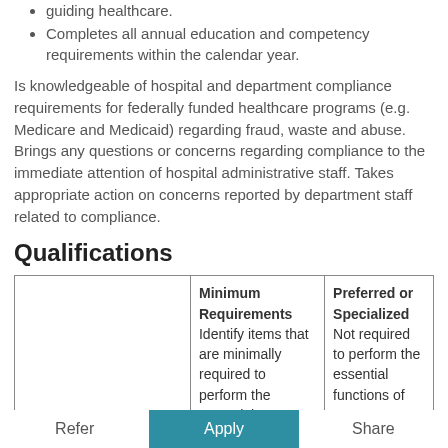Completes all annual education and competency requirements within the calendar year.
Is knowledgeable of hospital and department compliance requirements for federally funded healthcare programs (e.g. Medicare and Medicaid) regarding fraud, waste and abuse.  Brings any questions or concerns regarding compliance to the immediate attention of hospital administrative staff.  Takes appropriate action on concerns reported by department staff related to compliance.
Qualifications
|  | Minimum Requirements | Preferred or Specialized |
| --- | --- | --- |
|  | Identify items that are minimally required to perform the essential | Not required to perform the essential functions of |
Refer   Apply   Share